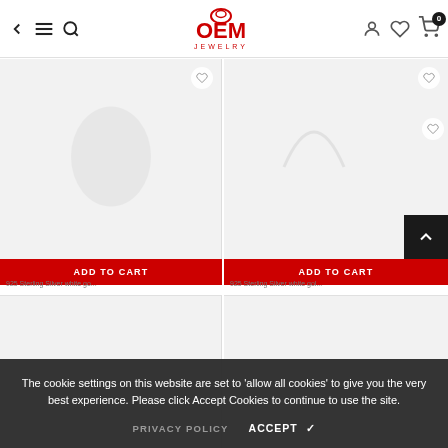OEM JEWELRY - navigation header
[Figure (screenshot): Product card 1 - 925 Sterling Silver white gold plated item, light gray background product image area]
[Figure (screenshot): Product card 2 - 925 Sterling Silver white gold plated item, light gray background product image area]
The cookie settings on this website are set to 'allow all cookies' to give you the very best experience. Please click Accept Cookies to continue to use the site.
PRIVACY POLICY   ACCEPT ✔
925 Sterling Silver white go...
925 Sterling Silver white gol...